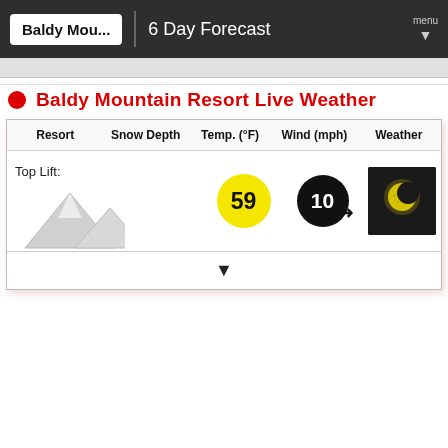Baldy Mou... | 6 Day Forecast | menu
Baldy Mountain Resort Live Weather
| Resort | Snow Depth | Temp. (°F) | Wind (mph) | Weather |
| --- | --- | --- | --- | --- |
| Top Lift: |  | 59 | 10 | [moon/night icon] |